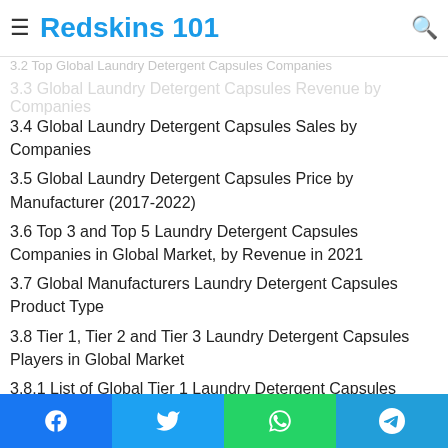≡ Redskins 101 🔍
3.2 Top Global Laundry Detergent Capsules Companies
3.3 Global Laundry Detergent Capsules Revenue by Companies
3.4 Global Laundry Detergent Capsules Sales by Companies
3.5 Global Laundry Detergent Capsules Price by Manufacturer (2017-2022)
3.6 Top 3 and Top 5 Laundry Detergent Capsules Companies in Global Market, by Revenue in 2021
3.7 Global Manufacturers Laundry Detergent Capsules Product Type
3.8 Tier 1, Tier 2 and Tier 3 Laundry Detergent Capsules Players in Global Market
3.8.1 List of Global Tier 1 Laundry Detergent Capsules Companies
3.8.2 List of Global Tier 2 and Tier 3 Laundry D
Facebook | Twitter | WhatsApp | Telegram